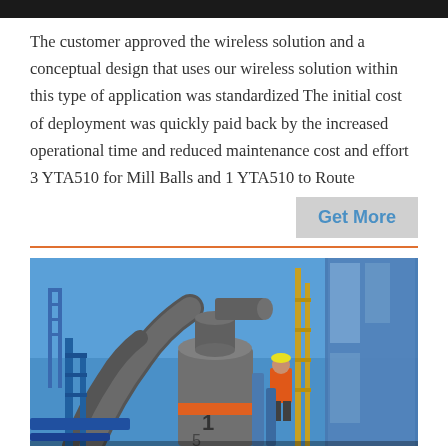The customer approved the wireless solution and a conceptual design that uses our wireless solution within this type of application was standardized The initial cost of deployment was quickly paid back by the increased operational time and reduced maintenance cost and effort 3 YTA510 for Mill Balls and 1 YTA510 to Route
Get More
[Figure (photo): Industrial milling/grinding machinery installation with large cylindrical tanks and blue metal structures against a blue sky, with an orange-jacketed worker visible]